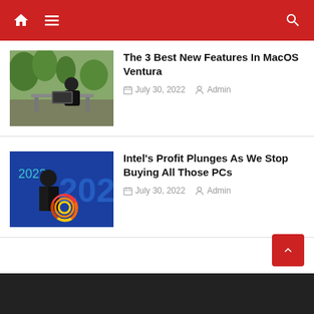Navigation header with home, menu, and search icons
The 3 Best New Features In MacOS Ventura
July 30, 2022   Admin
Intel's Profit Plunges As We Stop Buying All Those PCs
July 30, 2022   Admin